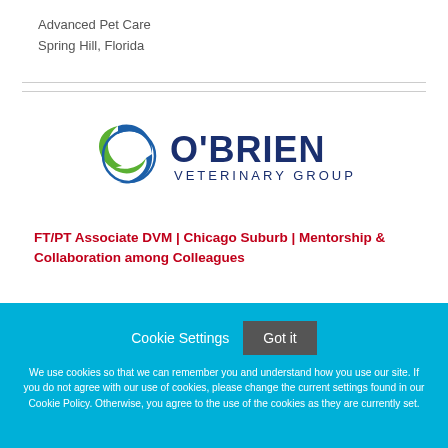Advanced Pet Care
Spring Hill, Florida
[Figure (logo): O'Brien Veterinary Group logo with blue and green circular swoosh icon and navy/dark blue text]
FT/PT Associate DVM | Chicago Suburb | Mentorship & Collaboration among Colleagues
Cookie Settings  Got it
We use cookies so that we can remember you and understand how you use our site. If you do not agree with our use of cookies, please change the current settings found in our Cookie Policy. Otherwise, you agree to the use of the cookies as they are currently set.